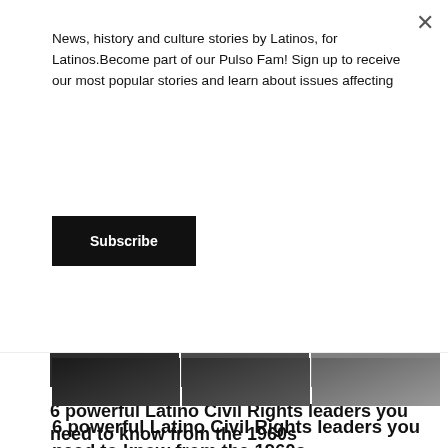News, history and culture stories by Latinos, for Latinos.Become part of our Pulso Fam! Sign up to receive our most popular stories and learn about issues affecting
Subscribe
[Figure (photo): Horizontal photo strip showing multiple black-and-white and color images of people, partially cropped]
6 powerful Latino Civil Rights leaders you need to know from the 1960s
JUNE 16, 2022
[Figure (photo): Split image: left side black-and-white photo of two men, one seated with a camera; right side color photo of a man in a suit seated in a red chair against a red background]